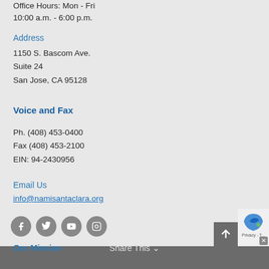Office Hours: Mon - Fri
10:00 a.m. - 6:00 p.m.
Address
1150 S. Bascom Ave.
Suite 24
San Jose, CA 95128
Voice and Fax
Ph. (408) 453-0400
Fax (408) 453-2100
EIN: 94-2430956
Email Us
info@namisantaclara.org
[Figure (illustration): Social media icons: Facebook, Twitter, YouTube, Instagram]
Our Mission    Share This
[Figure (logo): reCAPTCHA privacy and terms widget partially visible in bottom right corner]